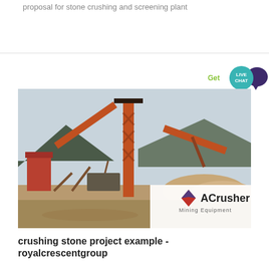proposal for stone crushing and screening plant
[Figure (photo): Stone crushing and screening plant with large orange metal conveyor towers, conveyor belts, machinery, gravel piles, mountains in background. ACrusher Mining Equipment logo overlaid at bottom right.]
crushing stone project example - royalcrescentgroup